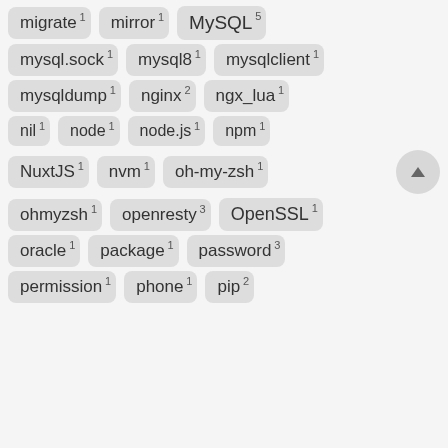migrate 1
mirror 1
MySQL 5
mysql.sock 1
mysql8 1
mysqlclient 1
mysqldump 1
nginx 2
ngx_lua 1
nil 1
node 1
node.js 1
npm 1
NuxtJS 1
nvm 1
oh-my-zsh 1
ohmyzsh 1
openresty 3
OpenSSL 1
oracle 1
package 1
password 3
permission 1
phone 1
pip 2